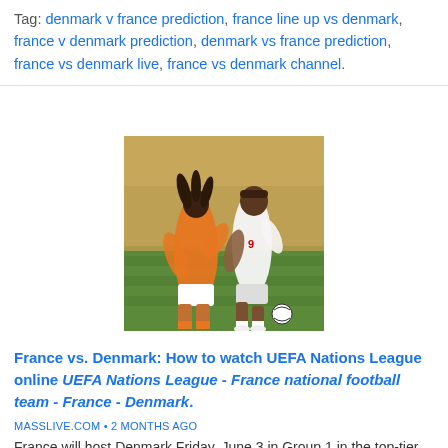Tag: denmark v france prediction, france line up vs denmark, france v denmark prediction, denmark vs france prediction, france vs denmark live, france vs denmark channel.
[Figure (photo): Two soccer players in action: one in orange uniform, one in white uniform with number 9, on a green field with crowd in background.]
France vs. Denmark: How to watch UEFA Nations League online UEFA Nations League - France national football team - France - Denmark.
MASSLIVE.COM • 2 MONTHS AGO
France will host Denmark Friday, June 3 in Group 1 in the top-tier League A of the UEFA Nations League at 2:45 p.m. EST.